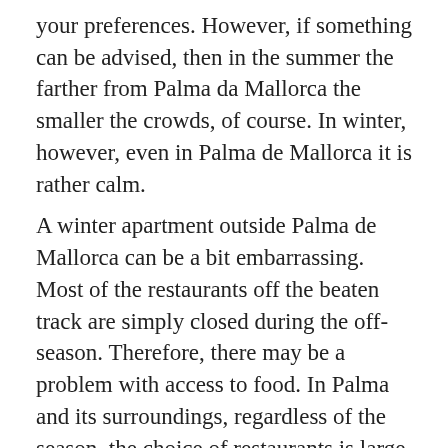your preferences. However, if something can be advised, then in the summer the farther from Palma da Mallorca the smaller the crowds, of course. In winter, however, even in Palma de Mallorca it is rather calm.
A winter apartment outside Palma de Mallorca can be a bit embarrassing. Most of the restaurants off the beaten track are simply closed during the off-season. Therefore, there may be a problem with access to food. In Palma and its surroundings, regardless of the season, the choice of restaurants is large. Due to the popularity of this direction in Germany, a large part of the restaurant is German-speaking and serves typical German dishes that are very similar to a typical Polish dinner (meat, potatoes or fries, and salad). Seafood lovers will feel like they are in Majorca. The seafood is perfect